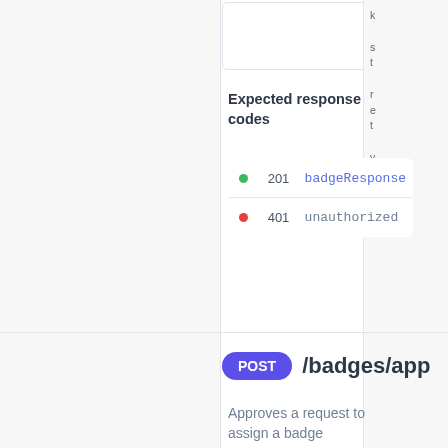Expected response codes
|  | Code | Type |
| --- | --- | --- |
| ● | 201 | badgeResponse |
| ● | 401 | unauthorized |
POST /badges/app
Approves a request to assign a badge